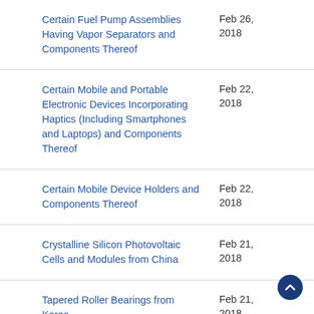| Case Name | Date |
| --- | --- |
| Certain Fuel Pump Assemblies Having Vapor Separators and Components Thereof | Feb 26, 2018 |
| Certain Mobile and Portable Electronic Devices Incorporating Haptics (Including Smartphones and Laptops) and Components Thereof | Feb 22, 2018 |
| Certain Mobile Device Holders and Components Thereof | Feb 22, 2018 |
| Crystalline Silicon Photovoltaic Cells and Modules from China | Feb 21, 2018 |
| Tapered Roller Bearings from Korea | Feb 21, 2018 |